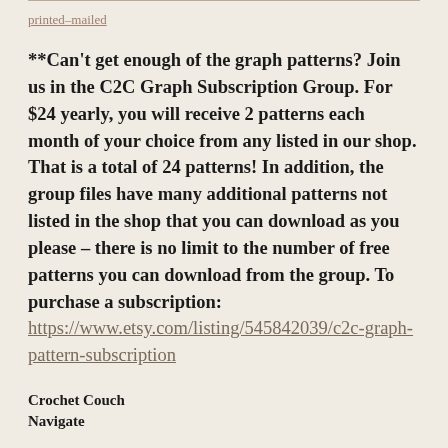printed-mailed
**Can't get enough of the graph patterns? Join us in the C2C Graph Subscription Group. For $24 yearly, you will receive 2 patterns each month of your choice from any listed in our shop. That is a total of 24 patterns! In addition, the group files have many additional patterns not listed in the shop that you can download as you please – there is no limit to the number of free patterns you can download from the group. To purchase a subscription:
https://www.etsy.com/listing/545842039/c2c-graph-pattern-subscription
Crochet Couch
Navigate